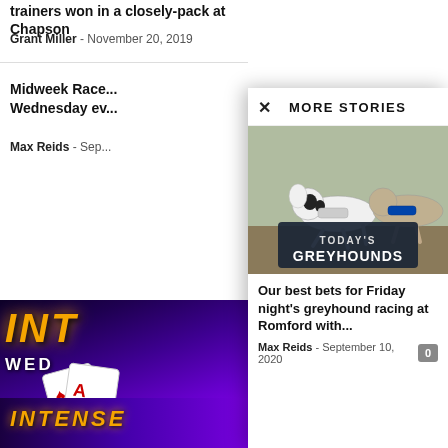trainers won in a closely-pack at Chapson
Grant Miller - November 20, 2019
Midweek Race... Wednesday ev...
Max Reids - Sep...
[Figure (screenshot): Popup overlay panel showing MORE STORIES with a greyhound racing photo and article]
Our best bets for Friday night's greyhound racing at Romford with...
Max Reids - September 10, 2020
[Figure (photo): Casino advertisement with INT text in gold, WED text, playing cards and chips on purple background]